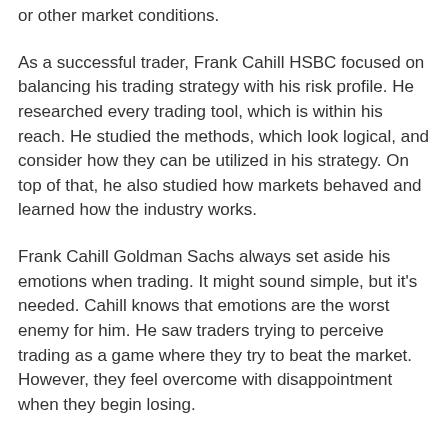or other market conditions.
As a successful trader, Frank Cahill HSBC focused on balancing his trading strategy with his risk profile. He researched every trading tool, which is within his reach. He studied the methods, which look logical, and consider how they can be utilized in his strategy. On top of that, he also studied how markets behaved and learned how the industry works.
Frank Cahill Goldman Sachs always set aside his emotions when trading. It might sound simple, but it's needed. Cahill knows that emotions are the worst enemy for him. He saw traders trying to perceive trading as a game where they try to beat the market. However, they feel overcome with disappointment when they begin losing.